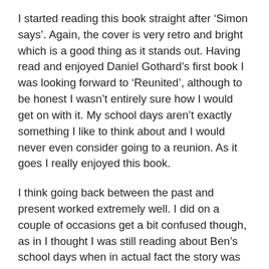I started reading this book straight after ‘Simon says’. Again, the cover is very retro and bright which is a good thing as it stands out. Having read and enjoyed Daniel Gothard’s first book I was looking forward to ‘Reunited’, although to be honest I wasn’t entirely sure how I would get on with it. My school days aren’t exactly something I like to think about and I would never even consider going to a reunion. As it goes I really enjoyed this book.
I think going back between the past and present worked extremely well. I did on a couple of occasions get a bit confused though, as in I thought I was still reading about Ben’s school days when in actual fact the story was back in the present. Maybe this is because I got hooked and wanted to know what happened next in Ben’s past. Ben and one of his best friends had a really hard time because